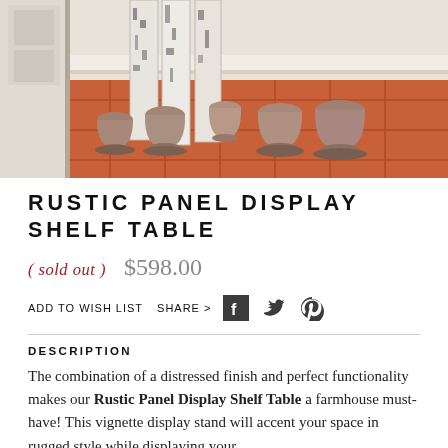[Figure (photo): Photo of rustic panel display shelf table on terracotta tile floor near a white door, with several terracotta clay pots of varying sizes arranged around weathered white painted wood panels.]
RUSTIC PANEL DISPLAY SHELF TABLE
( sold out )   $598.00
ADD TO WISH LIST   SHARE >
DESCRIPTION
The combination of a distressed finish and perfect functionality makes our Rustic Panel Display Shelf Table a farmhouse must-have! This vignette display stand will accent your space in rugged style while displaying your